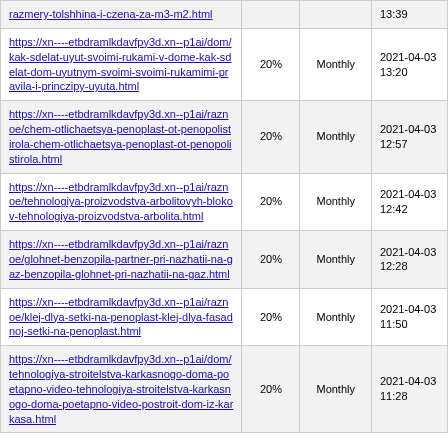| https://xn----etbdramlkdavfpy3d.xn--p1ai/razmery-tolshhina-i-czena-za-m3-m2.html |  |  | 13:39 |
| https://xn----etbdramlkdavfpy3d.xn--p1ai/dom/kak-sdelat-uyut-svoimi-rukami-v-dome-kak-sdelat-dom-uyutnym-svoimi-svoimi-rukamimi-pravila-i-princzipy-uyuta.html | 20% | Monthly | 2021-04-03 13:20 |
| https://xn----etbdramlkdavfpy3d.xn--p1ai/raznoe/chem-otlichaetsya-penoplast-ot-penopolistirola-chem-otlichaetsya-penoplast-ot-penopolistirola.html | 20% | Monthly | 2021-04-03 12:57 |
| https://xn----etbdramlkdavfpy3d.xn--p1ai/raznoe/tehnologiya-proizvodstva-arbolitovyh-blokov-tehnologiya-proizvodstva-arbolita.html | 20% | Monthly | 2021-04-03 12:42 |
| https://xn----etbdramlkdavfpy3d.xn--p1ai/raznoe/glohnet-benzopila-partner-pri-nazhatii-na-gaz-benzopila-glohnet-pri-nazhatii-na-gaz.html | 20% | Monthly | 2021-04-03 12:28 |
| https://xn----etbdramlkdavfpy3d.xn--p1ai/raznoe/klej-dlya-setki-na-penoplast-klej-dlya-fasadnoj-setki-na-penoplast.html | 20% | Monthly | 2021-04-03 11:50 |
| https://xn----etbdramlkdavfpy3d.xn--p1ai/dom/tehnologiya-stroitelstva-karkasnogo-doma-poetapno-video-tehnologiya-stroitelstva-karkasnogo-doma-poetapno-video-postroit-dom-iz-karkasa.html | 20% | Monthly | 2021-04-03 11:28 |